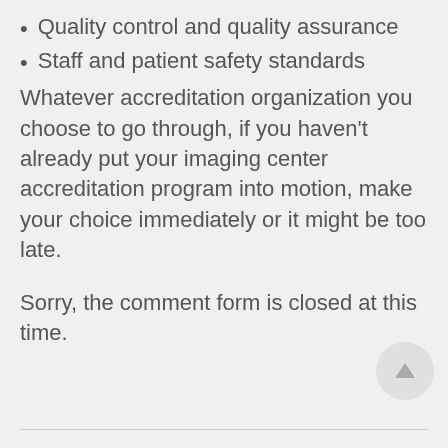Quality control and quality assurance
Staff and patient safety standards
Whatever accreditation organization you choose to go through, if you haven't already put your imaging center accreditation program into motion, make your choice immediately or it might be too late.
Sorry, the comment form is closed at this time.